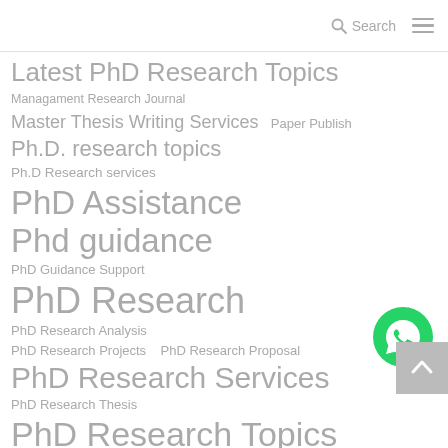Search
Latest PhD Research Topics
Managament Research Journal
Master Thesis Writing Services   Paper Publish
Ph.D. research topics
Ph.D Research services
PhD Assistance
Phd guidance
PhD Guidance Support
PhD Research
PhD Research Analysis
PhD Research Projects   PhD Research Proposal
PhD Research Services
PhD Research Thesis
PhD Research Topics